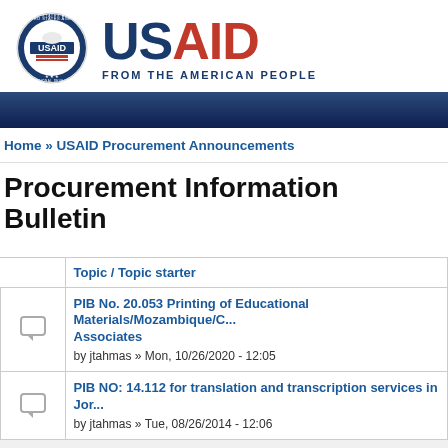[Figure (logo): USAID logo: circular seal with 'United States Agency for International Development' text around the edge and a handshake in the center, next to large 'USAID' text in blue and red with tagline 'FROM THE AMERICAN PEOPLE']
Home » USAID Procurement Announcements
Procurement Information Bulletin
|  | Topic / Topic starter |
| --- | --- |
| [icon] | PIB No. 20.053 Printing of Educational Materials/Mozambique/C... Associates
by jtahmas » Mon, 10/26/2020 - 12:05 |
| [icon] | PIB NO: 14.112 for translation and transcription services in Jor...
by jtahmas » Tue, 08/26/2014 - 12:06 |